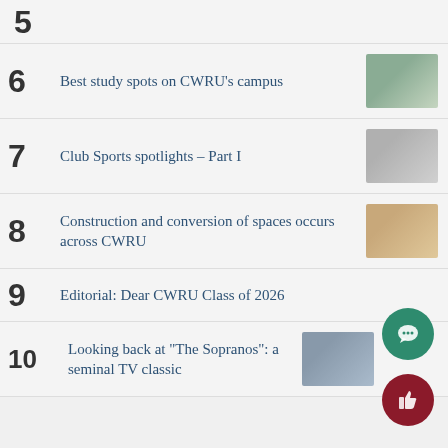5
6 Best study spots on CWRU’s campus
7 Club Sports spotlights – Part I
8 Construction and conversion of spaces occurs across CWRU
9 Editorial: Dear CWRU Class of 2026
10 Looking back at “The Sopranos”: a seminal TV classic